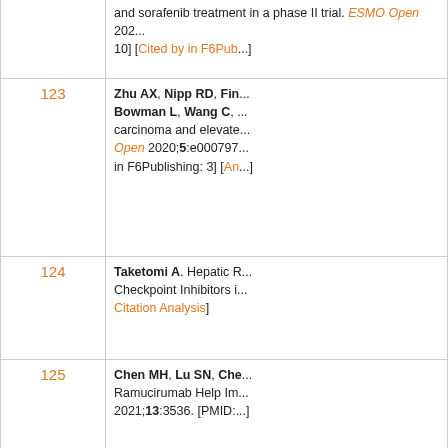| Number | Reference |
| --- | --- |
| (partial above) | and sorafenib treatment in a phase II trial. ESMO Open 2020;10] [Cited by in F6Pub... |
| 123 | Zhu AX, Nipp RD, Fin... Bowman L, Wang C, ... carcinoma and elevated... Open 2020;5:e000797... in F6Publishing: 3] [An... |
| 124 | Taketomi A. Hepatic R... Checkpoint Inhibitors i... Citation Analysis] |
| 125 | Chen MH, Lu SN, Che... Ramucirumab Help Im... 2021;13:3536. [PMID:... |
| 126 | Yeh H, Chiang CC, Ye... and treatment challeng... 10.3748/wjg.v27.i26.4... Citation Analysis] |
| 127 | Tada T, Kumada T, H... Itobayashi E, Tajiri K,... Tani J, Nakamura S, I... Koizumi Y, Hiasa Y; R... (hepatocellular carcinc... patients with HCC wh... |